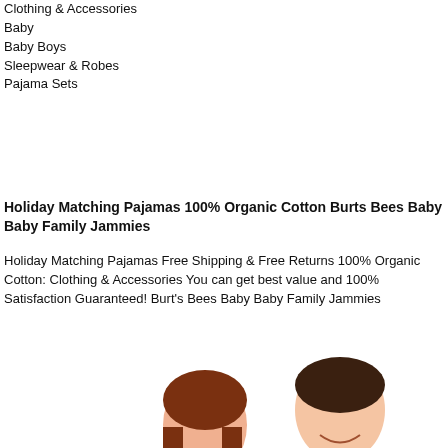Clothing & Accessories
Baby
Baby Boys
Sleepwear & Robes
Pajama Sets
Holiday Matching Pajamas 100% Organic Cotton Burts Bees Baby Baby Family Jammies
Holiday Matching Pajamas Free Shipping & Free Returns 100% Organic Cotton: Clothing & Accessories You can get best value and 100% Satisfaction Guaranteed! Burt's Bees Baby Baby Family Jammies
[Figure (photo): A smiling family of four wearing matching red and white holiday pajamas against a white background. Two adults and two children are posed together.]